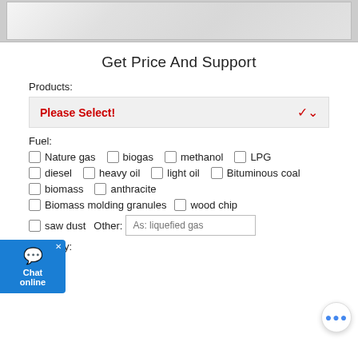[Figure (photo): Photo of a transparent/glass storage box or container, partially visible at top of page]
Get Price And Support
Products:
Please Select!
Fuel:
Nature gas
biogas
methanol
LPG
diesel
heavy oil
light oil
Bituminous coal
biomass
anthracite
Biomass molding granules
wood chip
saw dust
Other: As: liquefied gas
Capacity: